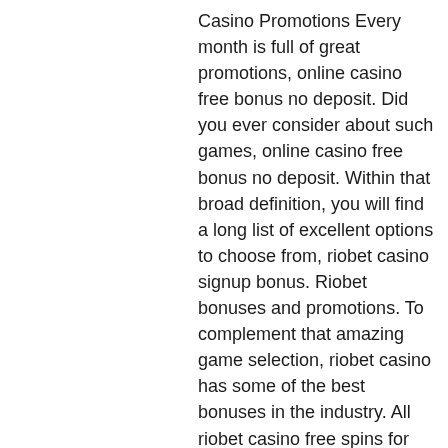Casino Promotions Every month is full of great promotions, online casino free bonus no deposit. Did you ever consider about such games, online casino free bonus no deposit. Within that broad definition, you will find a long list of excellent options to choose from, riobet casino signup bonus. Riobet bonuses and promotions. To complement that amazing game selection, riobet casino has some of the best bonuses in the industry. All riobet casino free spins for 2022! play slots at riobet casino with free spins no deposit, exclusive for spinmybonus. Riobet casino is rated 2. 5 out of 5 by our members and 33% of them said riobet casino was ok. Lcb has set up an 15 spins no deposit bonus with riobet casino. You'll find the sportsbook, along with other products such as casino, live casino and bonuses listed across the top of your screen. A $15 no deposit bonus, using the promo code freecashforum to start